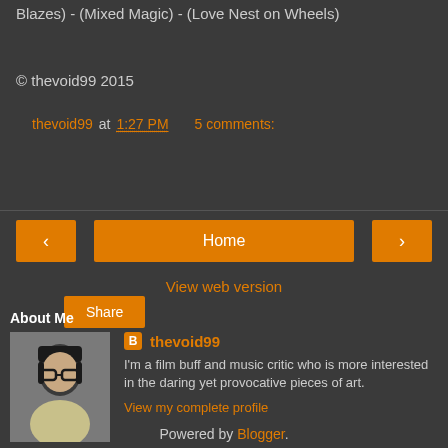Blazes) - (Mixed Magic) - (Love Nest on Wheels)
© thevoid99 2015
thevoid99 at 1:27 PM   5 comments:
Share
< Home >
View web version
About Me
thevoid99
I'm a film buff and music critic who is more interested in the daring yet provocative pieces of art.
View my complete profile
Powered by Blogger.